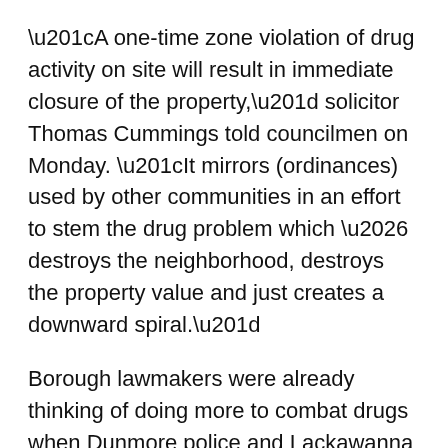“A one-time zone violation of drug activity on site will result in immediate closure of the property,” solicitor Thomas Cummings told councilmen on Monday. “It mirrors (ordinances) used by other communities in an effort to stem the drug problem which … destroys the neighborhood, destroys the property value and just creates a downward spiral.”
Borough lawmakers were already thinking of doing more to combat drugs when Dunmore police and Lackawanna County detectives found a large cache of drugs and related paraphernalia at a Prescott Avenue home last month.
Read more: http://thetimes-tribune.com/news/dunmore-may-condemn-homes-where-drugs-are-sold-1.1668476